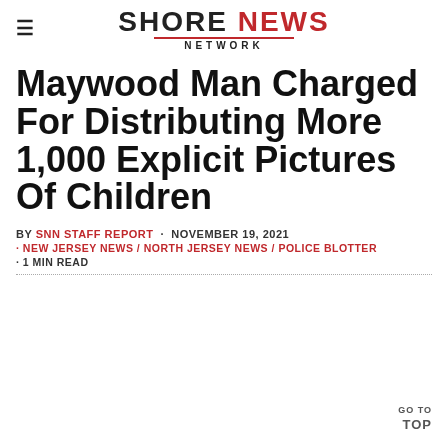Shore News Network
Maywood Man Charged For Distributing More 1,000 Explicit Pictures Of Children
BY SNN STAFF REPORT · NOVEMBER 19, 2021 · NEW JERSEY NEWS / NORTH JERSEY NEWS / POLICE BLOTTER · 1 MIN READ